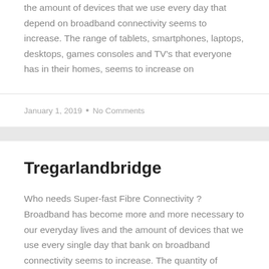the amount of devices that we use every day that depend on broadband connectivity seems to increase. The range of tablets, smartphones, laptops, desktops, games consoles and TV's that everyone has in their homes, seems to increase on
January 1, 2019 • No Comments
Tregarlandbridge
Who needs Super-fast Fibre Connectivity ? Broadband has become more and more necessary to our everyday lives and the amount of devices that we use every single day that bank on broadband connectivity seems to increase. The quantity of tablets, smartphones, laptops, desktops, games consoles and TV's that each person has in their homes, seems